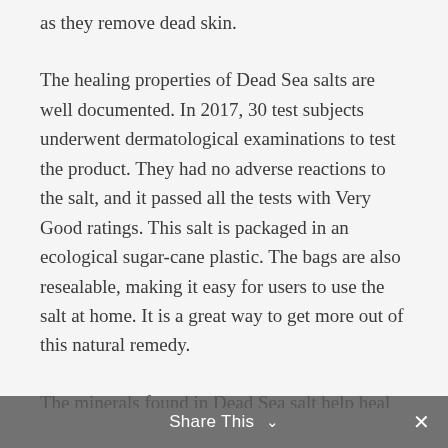as they remove dead skin.
The healing properties of Dead Sea salts are well documented. In 2017, 30 test subjects underwent dermatological examinations to test the product. They had no adverse reactions to the salt, and it passed all the tests with Very Good ratings. This salt is packaged in an ecological sugar-cane plastic. The bags are also resealable, making it easy for users to use the salt at home. It is a great way to get more out of this natural remedy.
The minerals found in Dead Sea salt help heal skin and relieve fungal conditions. They help protect the cells involved in collagen production. Collagen provides structure to the body. Sodium is an effective antifungal and antimicrobial. It helps soothe sore muscles and joints. It is also anti-inflammatory. Therefore, it is effective for a variety of skin conditions. If you suffer from acne, this salt can help heal your skin.
Share This ∨  ✕